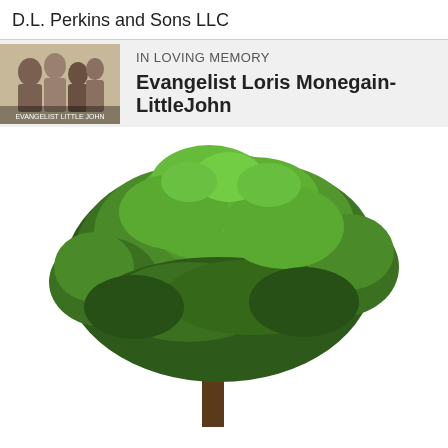D.L. Perkins and Sons LLC
IN LOVING MEMORY
Evangelist Loris Monegain-LittleJohn
[Figure (photo): A large green deciduous tree with full leafy canopy on a white background]